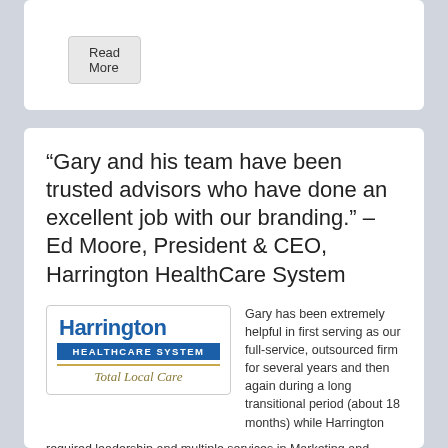Read More
“Gary and his team have been trusted advisors who have done an excellent job with our branding.” – Ed Moore, President & CEO, Harrington HealthCare System
[Figure (logo): Harrington HealthCare System logo with 'Total Local Care' tagline]
Gary has been extremely helpful in first serving as our full-service, outsourced firm for several years and then again during a long transitional period (about 18 months) while Harrington required leadership and multiple services in Marketing and